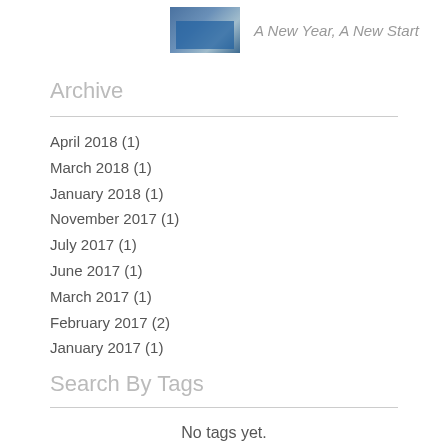[Figure (photo): Small thumbnail photo of a blue table with papers/materials on it]
A New Year, A New Start
Archive
April 2018 (1)
March 2018 (1)
January 2018 (1)
November 2017 (1)
July 2017 (1)
June 2017 (1)
March 2017 (1)
February 2017 (2)
January 2017 (1)
Search By Tags
No tags yet.